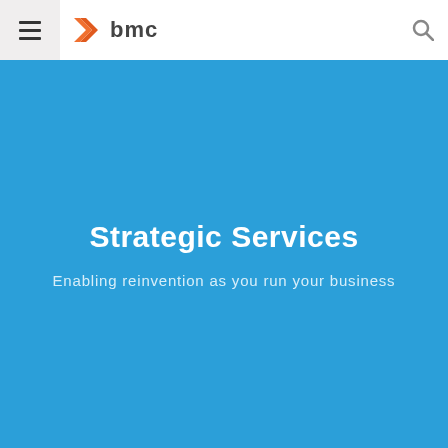BMC - Strategic Services
Strategic Services
Enabling reinvention as you run your business